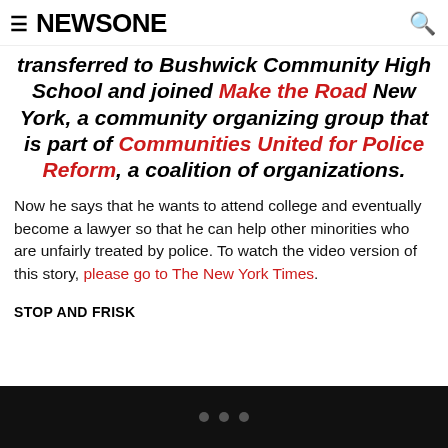NEWSONE
transferred to Bushwick Community High School and joined Make the Road New York, a community organizing group that is part of Communities United for Police Reform, a coalition of organizations.
Now he says that he wants to attend college and eventually become a lawyer so that he can help other minorities who are unfairly treated by police. To watch the video version of this story, please go to The New York Times.
STOP AND FRISK